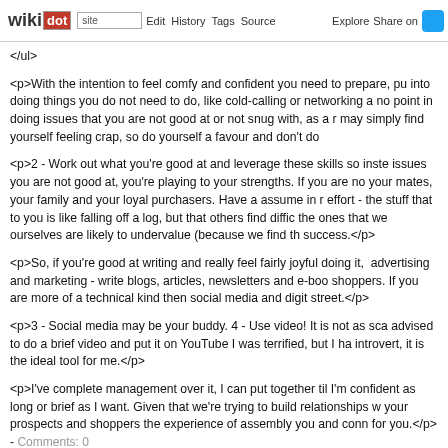wikidot | site | Edit | History | Tags | Source | Explore | Share on [Twitter]
</ul>
<p>With the intention to feel comfy and confident you need to prepare, putting into doing things you do not need to do, like cold-calling or networking a no point in doing issues that you are not good at or not snug with, as a r may simply find yourself feeling crap, so do yourself a favour and don't do
<p>2 - Work out what you're good at and leverage these skills so inste issues you are not good at, you're playing to your strengths. If you are no your mates, your family and your loyal purchasers. Have a assume in r effort - the stuff that to you is like falling off a log, but that others find diffic the ones that we ourselves are likely to undervalue (because we find th success.</p>
<p>So, if you're good at writing and really feel fairly joyful doing it, advertising and marketing - write blogs, articles, newsletters and e-boo shoppers. If you are more of a technical kind then social media and digit street.</p>
<p>3 - Social media may be your buddy. 4 - Use video! It is not as sca advised to do a brief video and put it on YouTube I was terrified, but I ha introvert, it is the ideal tool for me.</p>
<p>I've complete management over it, I can put together til I'm confident as long or brief as I want. Given that we're trying to build relationships w your prospects and shoppers the experience of assembly you and conn for you.</p> - Comments: 0
New Ways To save lots of Money When Buying C